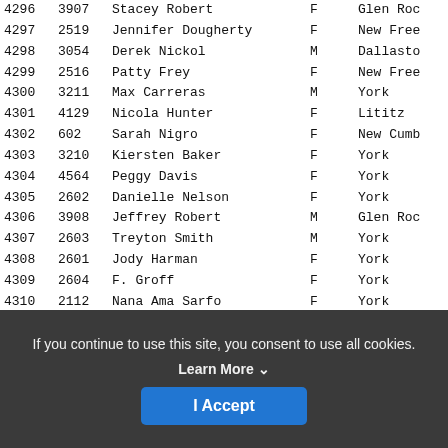| # | ID | Name | Sex | City |
| --- | --- | --- | --- | --- |
| 4296 | 3907 | Stacey Robert | F | Glen Roc... |
| 4297 | 2519 | Jennifer Dougherty | F | New Free... |
| 4298 | 3054 | Derek Nickol | M | Dallasto... |
| 4299 | 2516 | Patty Frey | F | New Free... |
| 4300 | 3211 | Max Carreras | M | York |
| 4301 | 4129 | Nicola Hunter | F | Lititz |
| 4302 | 602 | Sarah Nigro | F | New Cumb... |
| 4303 | 3210 | Kiersten Baker | F | York |
| 4304 | 4564 | Peggy Davis | F | York |
| 4305 | 2602 | Danielle Nelson | F | York |
| 4306 | 3908 | Jeffrey Robert | M | Glen Roc... |
| 4307 | 2603 | Treyton Smith | M | York |
| 4308 | 2601 | Jody Harman | F | York |
| 4309 | 2604 | F. Groff | F | York |
| 4310 | 2112 | Nana Ama Sarfo | F | York |
| 4311 | 4369 | Abbie Sarfo | F | York |
| 4312 | 714 | John Apgar | M | North Ca... |
| 4313 | 615 | Tracy Kepler | F | yoe |
| 4314 | 4296 | Megan Davis | F | York |
| 4315 | 4607 | Shyeayne Harleman | F | York |
| 4316 | 4606 | Lori Harleman | F | York |
| 4317 | 3305 | David Moellman | M | Stewarts... |
If you continue to use this site, you consent to use all cookies.
Learn More
I Accept